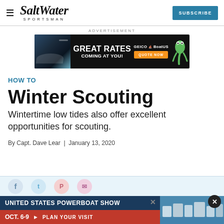Salt Water Sportsman — SUBSCRIBE
[Figure (photo): Advertisement banner: GEICO BoatUS ad with speedboat image, text 'GREAT RATES COMING AT YOU!', orange QUOTE NOW button, and gecko mascot]
HOW TO
Winter Scouting
Wintertime low tides also offer excellent opportunities for scouting.
By Capt. Dave Lear | January 13, 2020
[Figure (photo): Bottom advertisement: United States Powerboat Show, Oct. 6-9, Plan Your Visit, with marina/boats photo]
[Figure (photo): Social sharing icons bar: Facebook, Twitter, Pinterest, Email]